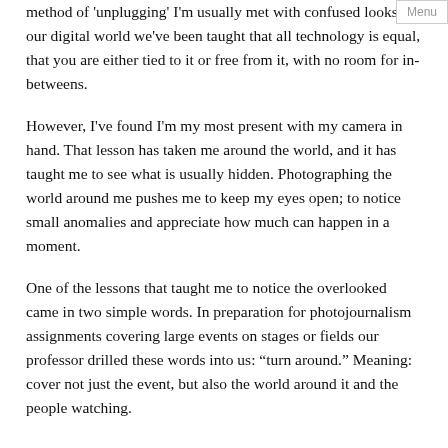method of 'unplugging' I'm usually met with confused looks. In our digital world we've been taught that all technology is equal, that you are either tied to it or free from it, with no room for in-betweens.
However, I've found I'm my most present with my camera in hand. That lesson has taken me around the world, and it has taught me to see what is usually hidden. Photographing the world around me pushes me to keep my eyes open; to notice small anomalies and appreciate how much can happen in a moment.
One of the lessons that taught me to notice the overlooked came in two simple words. In preparation for photojournalism assignments covering large events on stages or fields our professor drilled these words into us: “turn around.” Meaning: cover not just the event, but also the world around it and the people watching.